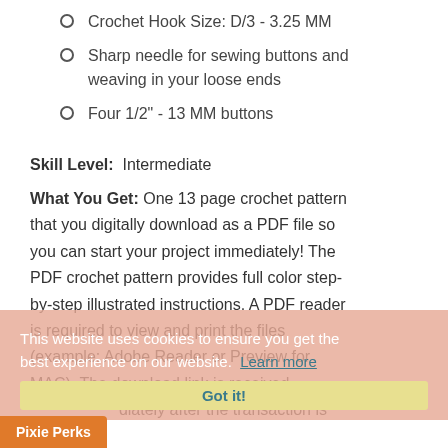Crochet Hook Size: D/3 - 3.25 MM
Sharp needle for sewing buttons and weaving in your loose ends
Four 1/2" - 13 MM buttons
Skill Level:  Intermediate
What You Get: One 13 page crochet pattern that you digitally download as a PDF file so you can start your project immediately! The PDF crochet pattern provides full color step-by-step illustrated instructions. A PDF reader is required to view and print the files (example: Adobe Reader or Preview for MAC). The download link is received immediately after the transaction is
This website uses cookies to ensure you get the best experience on our website.  Learn more
Got it!
Pixie Perks